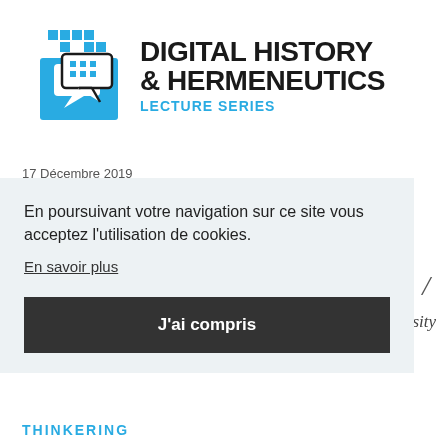[Figure (logo): Digital History & Hermeneutics Lecture Series logo with blue pixel speech bubble icon and bold text]
17 Décembre 2019
En poursuivant votre navigation sur ce site vous acceptez l'utilisation de cookies.
En savoir plus
J'ai compris
rsity
THINKERING